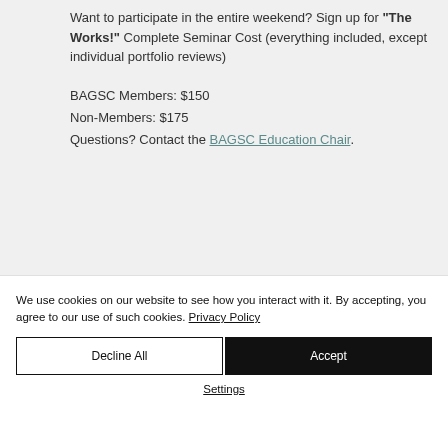Want to participate in the entire weekend? Sign up for "The Works!" Complete Seminar Cost (everything included, except individual portfolio reviews)

BAGSC Members: $150
Non-Members: $175
Questions? Contact the BAGSC Education Chair.
We use cookies on our website to see how you interact with it. By accepting, you agree to our use of such cookies. Privacy Policy
Decline All
Accept
Settings